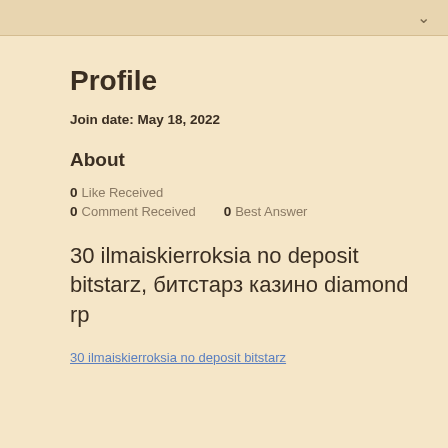Profile
Join date: May 18, 2022
About
0 Like Received
0 Comment Received  0 Best Answer
30 ilmaiskierroksia no deposit bitstarz, битстарз казино diamond rp
30 ilmaiskierroksia no deposit bitstarz